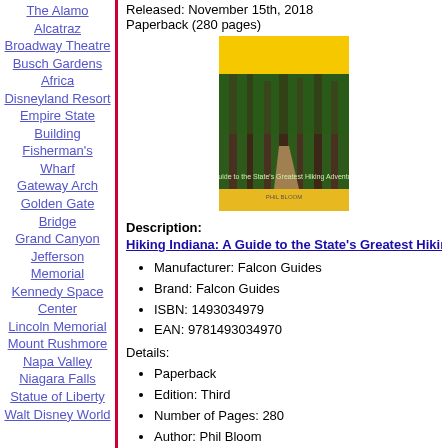The Alamo
Alcatraz
Broadway Theatre
Busch Gardens Africa
Disneyland Resort
Empire State Building
Fisherman's Wharf
Gateway Arch
Golden Gate Bridge
Grand Canyon
Jefferson Memorial
Kennedy Space Center
Lincoln Memorial
Mount Rushmore
Napa Valley
Niagara Falls
Statue of Liberty
Walt Disney World
Released: November 15th, 2018
Paperback (280 pages)
[Figure (photo): Book cover of Hiking Indiana: A Guide to the State's Greatest Hiking Adventures, showing a forest trail with tall trees and yellow cover]
Description:
Hiking Indiana: A Guide to the State's Greatest Hiking A...
Manufacturer: Falcon Guides
Brand: Falcon Guides
ISBN: 1493034979
EAN: 9781493034970
Details:
Paperback
Edition: Third
Number of Pages: 280
Author: Phil Bloom
Publication Date: November 15th, 2018
Release Date: November 15th, 2018